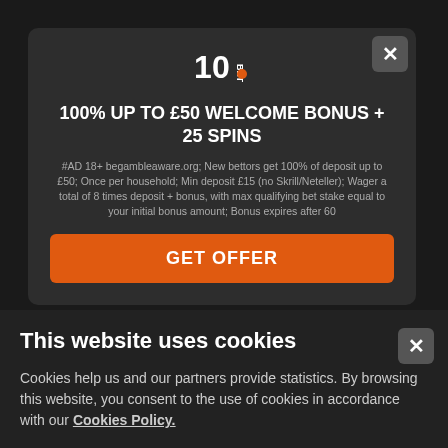[Figure (screenshot): 10Bet logo — stylized '10' with 'BET' text in white on dark background]
100% UP TO £50 WELCOME BONUS + 25 SPINS
#AD 18+ begambleaware.org; New bettors get 100% of deposit up to £50; Once per household; Min deposit £15 (no Skrill/Neteller); Wager a total of 8 times deposit + bonus, with max qualifying bet stake equal to your initial bonus amount; Bonus expires after 60
GET OFFER
HorseRacing.net is committed to supporting Reponsible Gambling Initiatives - For additional information visit : GamCare | BeGambleAware | Gamblers Anonymous
Content on HorseRacing.net is not intended for anybody under 18
This website uses cookies
Cookies help us and our partners provide statistics. By browsing this website, you consent to the use of cookies in accordance with our Cookies Policy.
Accept & Close